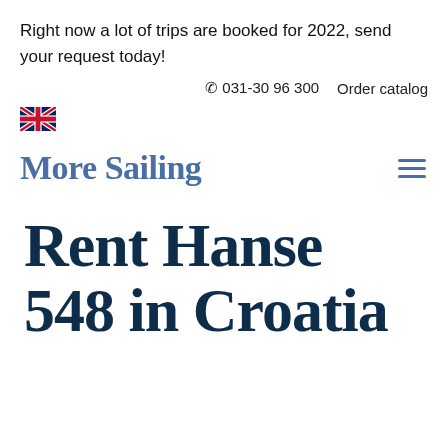Right now a lot of trips are booked for 2022, send your request today!
☎ 031-30 96 300   Order catalog
[Figure (illustration): UK flag icon]
More Sailing
Rent Hanse 548 in Croatia